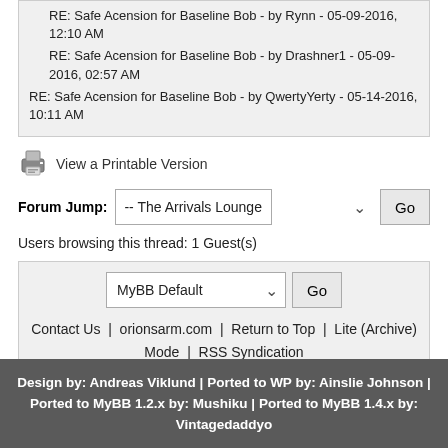RE: Safe Acension for Baseline Bob - by Rynn - 05-09-2016, 12:10 AM
RE: Safe Acension for Baseline Bob - by Drashner1 - 05-09-2016, 02:57 AM
RE: Safe Acension for Baseline Bob - by QwertyYerty - 05-14-2016, 10:11 AM
View a Printable Version
Forum Jump:  -- The Arrivals Lounge  Go
Users browsing this thread: 1 Guest(s)
MyBB Default  Go
Contact Us | orionsarm.com | Return to Top | Lite (Archive) Mode | RSS Syndication
Powered By MyBB, © 2002-2022 MyBB Group.
Design by: Andreas Viklund | Ported to WP by: Ainslie Johnson | Ported to MyBB 1.2.x by: Mushiku | Ported to MyBB 1.4.x by: Vintagedaddyo